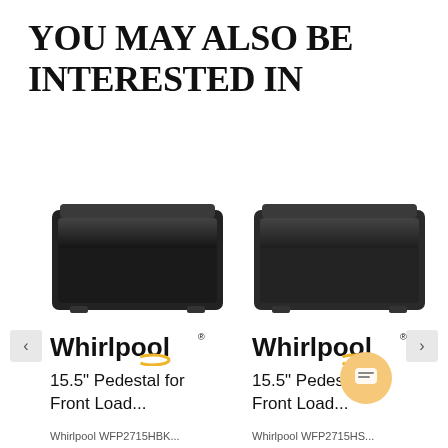YOU MAY ALSO BE INTERESTED IN
[Figure (photo): Black Whirlpool 15.5 inch pedestal for front load washer/dryer, left product]
[Figure (logo): Whirlpool logo with yellow swirl, left product]
15.5" Pedestal for Front Load...
Whirlpool WFP2715HBK...
[Figure (photo): Black Whirlpool 15.5 inch pedestal for front load washer/dryer, right product]
[Figure (logo): Whirlpool logo with yellow swirl, right product]
15.5" Pedestal for Front Load...
Whirlpool WFP2715HS...